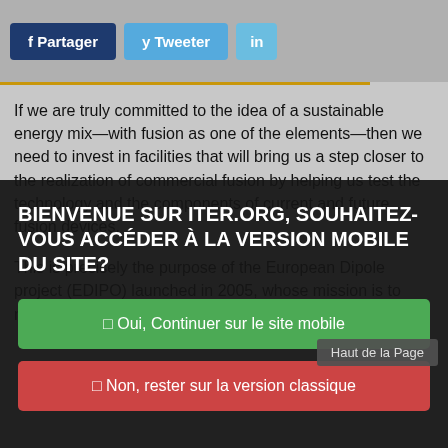f Partager   y Tweeter   in
If we are truly committed to the idea of a sustainable energy mix—with fusion as one of the elements—then we need to invest in facilities that will bring us a step closer to the realization of commercial fusion by helping us test the technology and the components of current and future fusion devices.
This is precisely the purpose of the European Dipole project (EDIPO) launched in 2005, whose mission is to manufacture a high field magnet that would ultimately be used to test
BIENVENUE SUR ITER.ORG, SOUHAITEZ-VOUS ACCÉDER À LA VERSION MOBILE DU SITE?
□ Oui, Continuer sur le site mobile
□ Non, rester sur la version classique
Haut de la Page